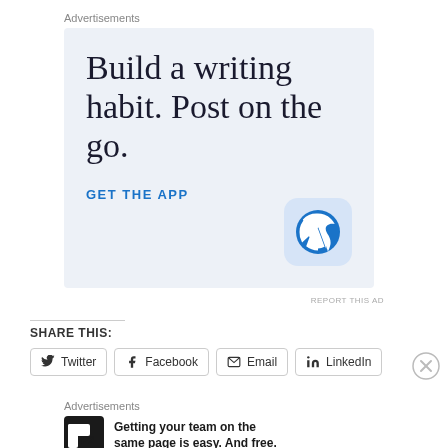Advertisements
[Figure (illustration): WordPress advertisement banner with light blue background. Large serif text reads 'Build a writing habit. Post on the go.' with a blue 'GET THE APP' call to action and WordPress logo icon.]
REPORT THIS AD
SHARE THIS:
Twitter  Facebook  Email  LinkedIn
Advertisements
[Figure (illustration): P2 advertisement. P2 logo (white P2 on black background) with text: Getting your team on the same page is easy. And free.]
REPORT THIS AD